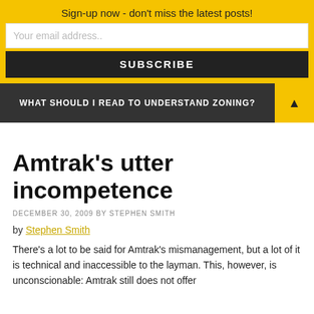Sign-up now - don't miss the latest posts!
Your email address..
SUBSCRIBE
WHAT SHOULD I READ TO UNDERSTAND ZONING?
Amtrak's utter incompetence
DECEMBER 30, 2009 BY STEPHEN SMITH
by Stephen Smith
There's a lot to be said for Amtrak's mismanagement, but a lot of it is technical and inaccessible to the layman. This, however, is unconscionable: Amtrak still does not offer